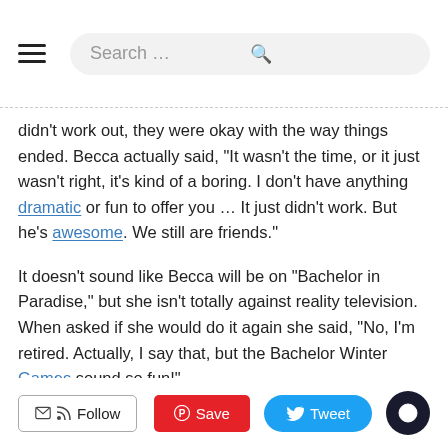Search ...
didn't work out, they were okay with the way things ended. Becca actually said, "It wasn't the time, or it just wasn't right, it's kind of a boring. I don't have anything dramatic or fun to offer you … It just didn't work. But he's awesome. We still are friends."
It doesn't sound like Becca will be on "Bachelor in Paradise," but she isn't totally against reality television. When asked if she would do it again she said, "No, I'm retired. Actually, I say that, but the Bachelor Winter Games sound so fun!"
Are you surprised to hear that Becca Tilley and Robert Graham split? Do you have high hopes to see her on television once again? Sound off in the comments section below on your thoughts, and don't miss watching Rachel Lindsay on "The Bachelorette" on Monday nights on ABC.
[Featured Image via Instagram]
Follow | Save | Tweet